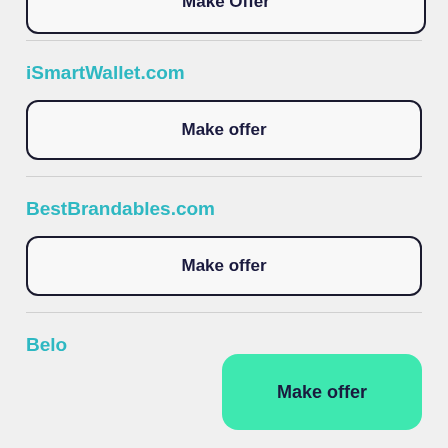Make Offer (top partial button)
iSmartWallet.com
Make offer
BestBrandables.com
Make offer
Belo... (partial)
Make offer (green floating button)